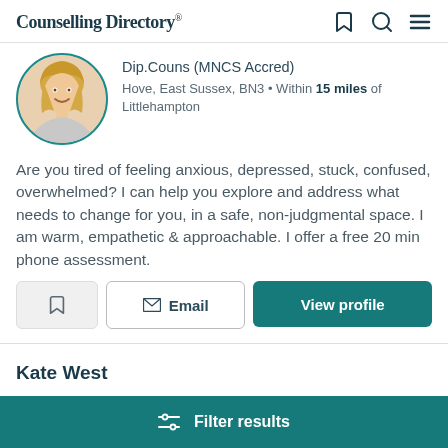Counselling Directory
Dip.Couns (MNCS Accred)
Hove, East Sussex, BN3 • Within 15 miles of Littlehampton
Are you tired of feeling anxious, depressed, stuck, confused, overwhelmed? I can help you explore and address what needs to change for you, in a safe, non-judgmental space. I am warm, empathetic & approachable. I offer a free 20 min phone assessment.
Kate West
Filter results